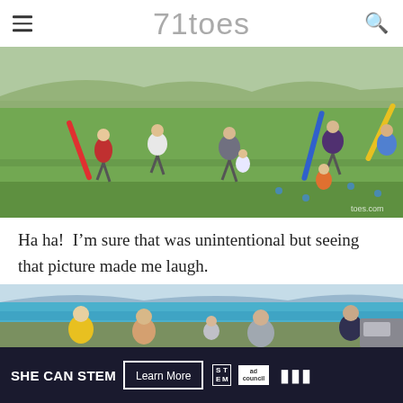71toes
[Figure (photo): People playing outdoor lawn games on a grassy field with pool noodles and other props, mountains and blue sky in the background. A watermark reads 'toes.com' in the lower right.]
Ha ha!  I’m sure that was unintentional but seeing that picture made me laugh.
[Figure (photo): Several people working outdoors near a body of turquoise blue water with mountains in the background. People are bending over plants or digging.]
[Figure (infographic): Advertisement banner: SHE CAN STEM — Learn More button, STEM logo, Ad Council logo, and weather/media logo on dark navy background.]